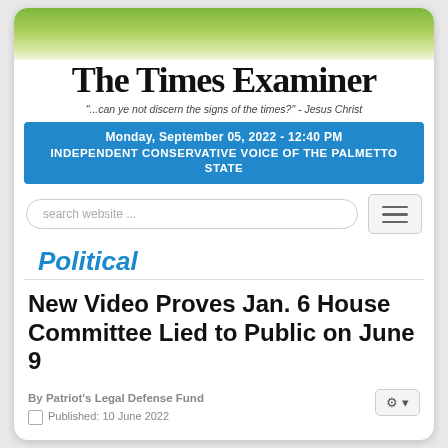The Times Examiner
"...can ye not discern the signs of the times?" - Jesus Christ
Monday, September 05, 2022 - 12:40 PM
INDEPENDENT CONSERVATIVE VOICE OF THE PALMETTO STATE
search website ...
Political
New Video Proves Jan. 6 House Committee Lied to Public on June 9
By Patriot's Legal Defense Fund
Published: 10 June 2022